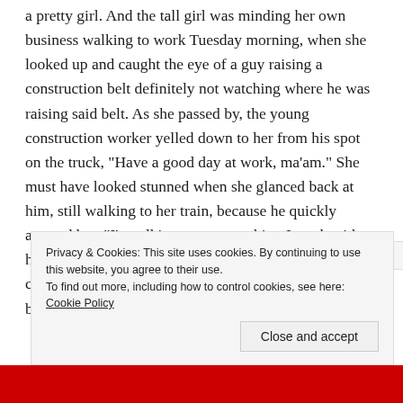a pretty girl. And the tall girl was minding her own business walking to work Tuesday morning, when she looked up and caught the eye of a guy raising a construction belt definitely not watching where he was raising said belt. As she passed by, the young construction worker yelled down to her from his spot on the truck, "Have a good day at work, ma'am." She must have looked stunned when she glanced back at him, still walking to her train, because he quickly assured her, "I'm talking to you, not him, I work with him every day," pointing to a baffled co-worker, who continued picking up cones and minding his own business. "You're
Privacy & Cookies: This site uses cookies. By continuing to use this website, you agree to their use.
To find out more, including how to control cookies, see here: Cookie Policy
Close and accept